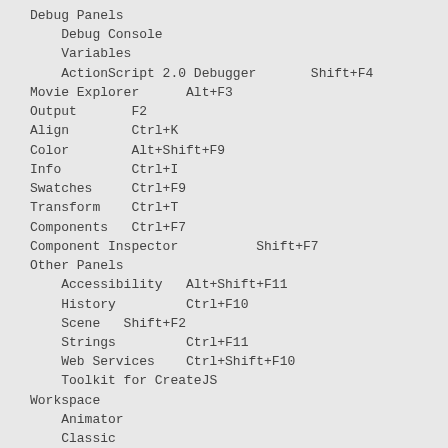Debug Panels
Debug Console
Variables
ActionScript 2.0 Debugger       Shift+F4
Movie Explorer      Alt+F3
Output       F2
Align        Ctrl+K
Color        Alt+Shift+F9
Info         Ctrl+I
Swatches     Ctrl+F9
Transform    Ctrl+T
Components   Ctrl+F7
Component Inspector          Shift+F7
Other Panels
Accessibility   Alt+Shift+F11
History         Ctrl+F10
Scene   Shift+F2
Strings         Ctrl+F11
Web Services    Ctrl+Shift+F10
Toolkit for CreateJS
Workspace
Animator
Classic
Debug
Designer
Developer
Essentials
Small Screen
Reset 'Essentials'
New Workspace...
Manage Workspaces...
Hide Panels          F4